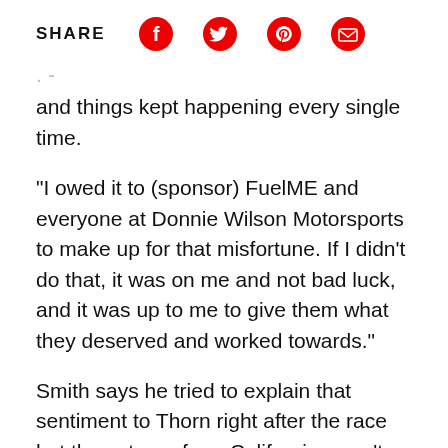SHARE
and things kept happening every single time.
"I owed it to (sponsor) FuelME and everyone at Donnie Wilson Motorsports to make up for that misfortune. If I didn't do that, it was on me and not bad luck, and it was up to me to give them what they deserved and worked towards."
Smith says he tried to explain that sentiment to Thorn right after the race but the veteran from California wasn't having it.
"I'm the type of racer that if there's a problem, let's talk it out now and not next week, let's not let it linger," Smith said. "Even if we have to fight it out,